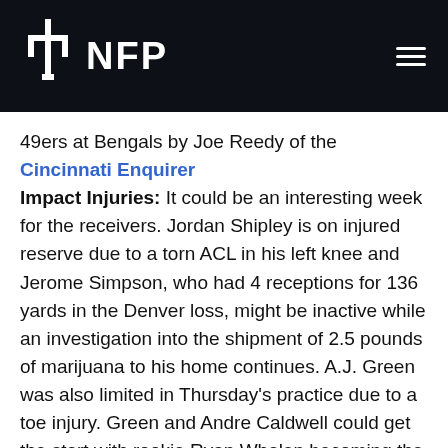NFP
49ers at Bengals by Joe Reedy of the Cincinnati Enquirer Impact Injuries: It could be an interesting week for the receivers. Jordan Shipley is on injured reserve due to a torn ACL in his left knee and Jerome Simpson, who had 4 receptions for 136 yards in the Denver loss, might be inactive while an investigation into the shipment of 2.5 pounds of marijuana to his home continues. A.J. Green was also limited in Thursday's practice due to a toe injury. Green and Andre Caldwell could get the start with rookie Ryan Whalen becoming the slot guy in three-receiver packages. DE Robert Geathers (shoulder) is expected to miss a second-straight game with Jonathan Fanene getting the start.
The X-Factor: Andy Dalton. The rookie quarterback threw for 332 yards, including 280 in the second half of last